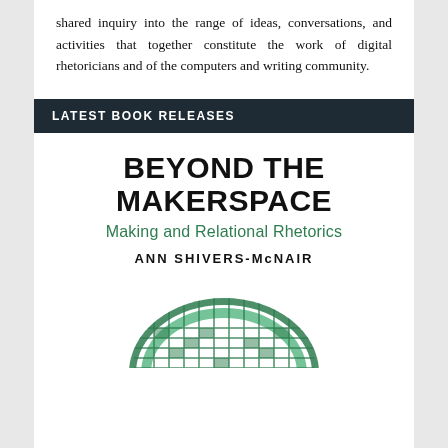shared inquiry into the range of ideas, conversations, and activities that together constitute the work of digital rhetoricians and of the computers and writing community.
LATEST BOOK RELEASES
[Figure (other): Book cover for 'Beyond the Makerspace: Making and Relational Rhetorics' by Ann Shivers-McNair. Large bold black serif title text, green subtitle, author name in uppercase, with a partial green woven/mesh circular decorative element at the bottom.]